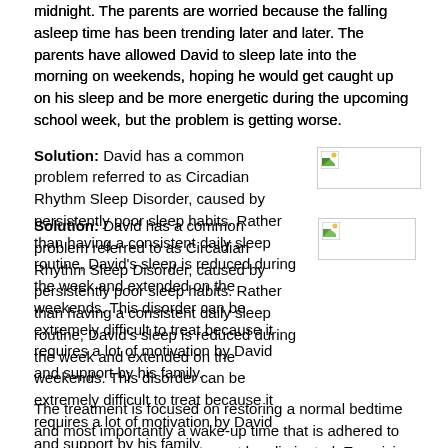midnight. The parents are worried because the falling asleep time has been trending later and later. The parents have allowed David to sleep late into the morning on weekends, hoping he would get caught up on his sleep and be more energetic during the upcoming school week, but the problem is getting worse.
Solution: David has a common problem referred to as Circadian Rhythm Sleep Disorder, caused by persistently poor sleep habits. Rather than having a consistent daily sleep routine, David's sleep is reduced during the week and extended on the weekends. This disorder can be extremely difficult to treat because it requires a lot of motivation by David and support by his family.
[Figure (photo): Small broken/missing image placeholder icon]
The treatment is focused on restoring a normal bedtime and most importantly a wake-up time that is adhered to seven days a week. Naps must be eliminated. Exercising daily and outside